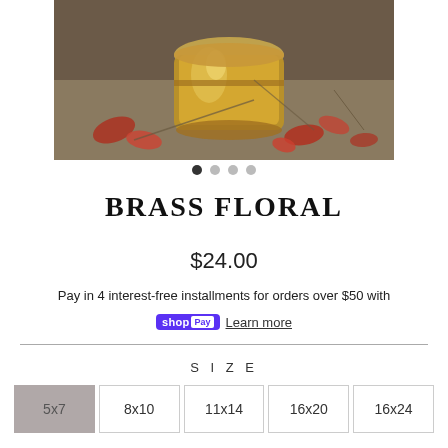[Figure (photo): Still life painting of a brass bucket/vase with red autumn leaves scattered around it on a neutral background]
BRASS FLORAL
$24.00
Pay in 4 interest-free installments for orders over $50 with shop Pay Learn more
SIZE
5x7  8x10  11x14  16x20  16x24